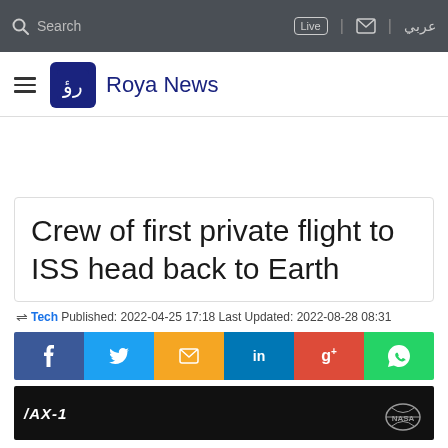Search  Live  عربي
[Figure (logo): Roya News logo with hamburger menu]
Crew of first private flight to ISS head back to Earth
Tech  Published: 2022-04-25 17:18  Last Updated: 2022-08-28 08:31
[Figure (infographic): Social share buttons: Facebook, Twitter, Email, LinkedIn, Google+, WhatsApp]
[Figure (photo): AX-1 mission image with NASA logo on black background]